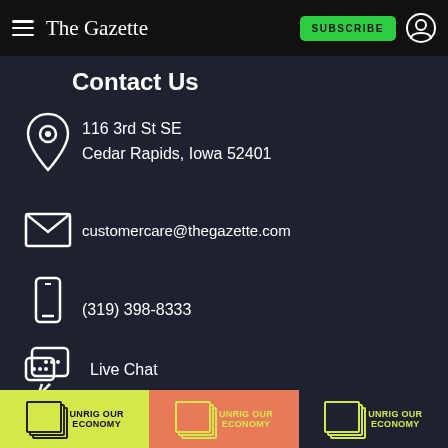The Gazette — SUBSCRIBE
Contact Us
116 3rd St SE
Cedar Rapids, Iowa 52401
customercare@thegazette.com
(319) 398-8333
Live Chat
Links
[Figure (illustration): Three 'Unrig Our Economy' advertisement banners at the bottom of the page, on yellow-green, orange, and dark backgrounds.]